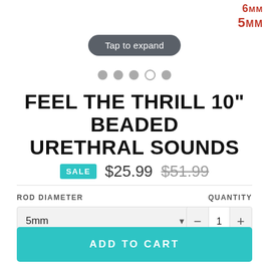[Figure (other): Size labels showing 6mm and 5mm in red bold text, top right corner of product image]
Tap to expand
[Figure (other): Carousel dot indicators: 4 filled gray dots and 1 empty/outline dot]
FEEL THE THRILL 10" BEADED URETHRAL SOUNDS
SALE $25.99 $51.99
ROD DIAMETER
QUANTITY
5mm
1
ADD TO CART